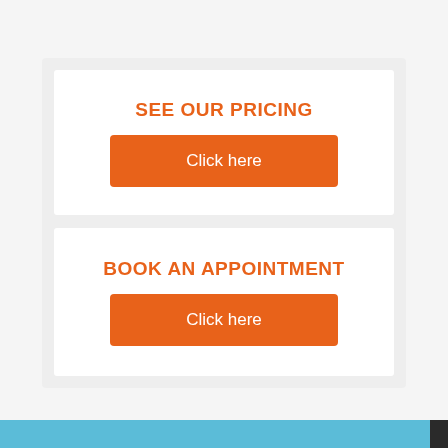SEE OUR PRICING
Click here
BOOK AN APPOINTMENT
Click here